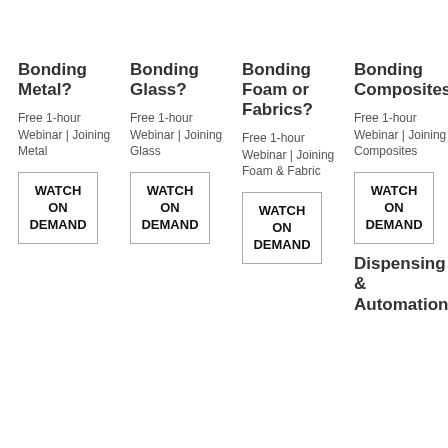Bonding Metal?
Free 1-hour Webinar | Joining Metal
WATCH ON DEMAND
Bonding Glass?
Free 1-hour Webinar | Joining Glass
WATCH ON DEMAND
Bonding Foam or Fabrics?
Free 1-hour Webinar | Joining Foam & Fabric
WATCH ON DEMAND
Bonding Composites?
Free 1-hour Webinar | Joining Composites
WATCH ON DEMAND
Dispensing & Automation